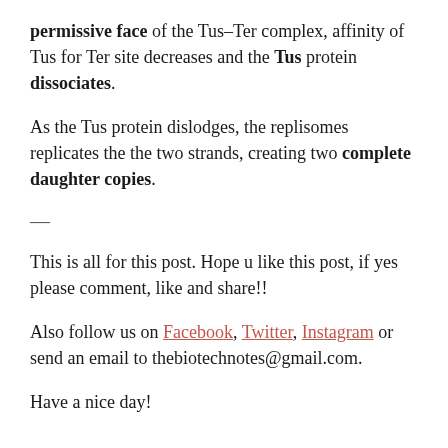permissive face of the Tus–Ter complex, affinity of Tus for Ter site decreases and the Tus protein dissociates.
As the Tus protein dislodges, the replisomes replicates the the two strands, creating two complete daughter copies.
—
This is all for this post. Hope u like this post, if yes please comment, like and share!!
Also follow us on Facebook, Twitter, Instagram or send an email to thebiotechnotes@gmail.com.
Have a nice day!